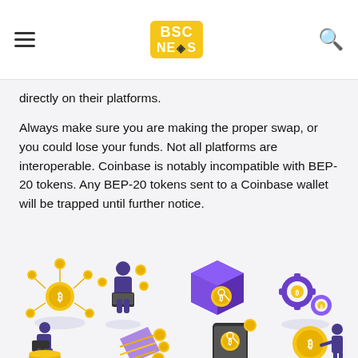BSC NEWS
directly on their platforms.
Always make sure you are making the proper swap, or you could lose your funds. Not all platforms are interoperable. Coinbase is notably incompatible with BEP-20 tokens. Any BEP-20 tokens sent to a Coinbase wallet will be trapped until further notice.
[Figure (illustration): Eight isometric cryptocurrency and blockchain illustrations arranged in two rows: bitcoin network node, person with laptop and coins, purple cube with coin and key, gear cogs with coins, person sitting on coins with laptop, hand with arrows and coins, mobile phone with key and coin, person touching a coin.]